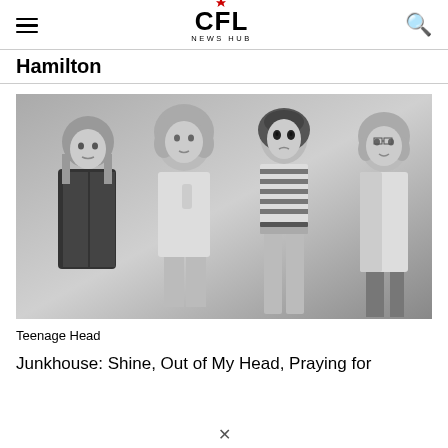CFL NEWS HUB
Hamilton
[Figure (photo): Black and white photo of four young members of the band Teenage Head, posing in punk/rock style clothing including leather jackets, striped crop top, and jeans.]
Teenage Head
Junkhouse: Shine, Out of My Head, Praying for